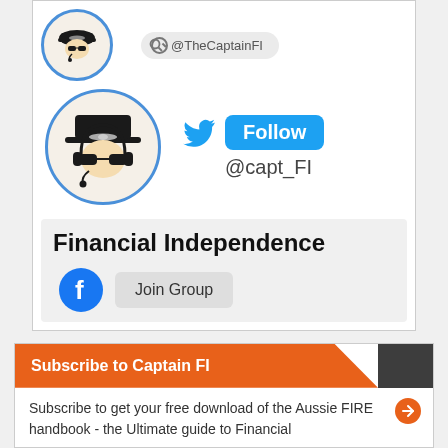[Figure (screenshot): Social media profile widget showing two pilot avatars, a search handle '@TheCaptainFI', a Twitter Follow button with handle '@capt_FI', a Facebook 'Financial Independence' group join section, and a 'Subscribe to Captain FI' banner with text about free Aussie FIRE handbook download.]